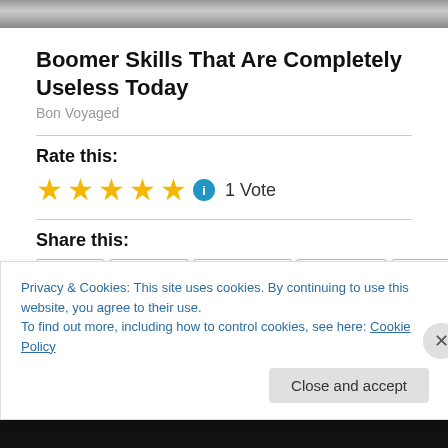[Figure (photo): Cropped grayscale photo at top of page]
Boomer Skills That Are Completely Useless Today
Bon Voyaged
Rate this:
[Figure (other): Five gold stars rating with info icon and '1 Vote' label]
Share this:
[Figure (other): Share buttons: Print, Twitter, Facebook, LinkedIn, Tumblr]
Privacy & Cookies: This site uses cookies. By continuing to use this website, you agree to their use.
To find out more, including how to control cookies, see here: Cookie Policy
Close and accept